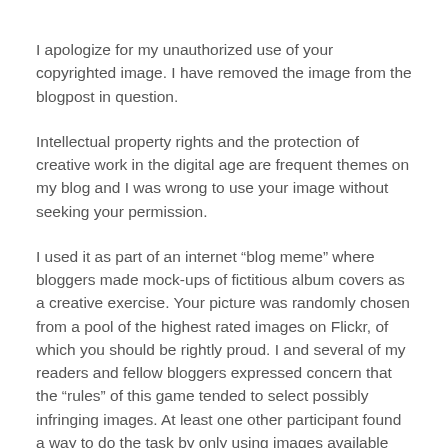I apologize for my unauthorized use of your copyrighted image. I have removed the image from the blogpost in question.
Intellectual property rights and the protection of creative work in the digital age are frequent themes on my blog and I was wrong to use your image without seeking your permission.
I used it as part of an internet “blog meme” where bloggers made mock-ups of fictitious album covers as a creative exercise. Your picture was randomly chosen from a pool of the highest rated images on Flickr, of which you should be rightly proud. I and several of my readers and fellow bloggers expressed concern that the “rules” of this game tended to select possibly infringing images. At least one other participant found a way to do the task by only using images available under a Creative Commons license that allow non-commercial derivative work.
My only rationalization (and it is pretty weak) is that my